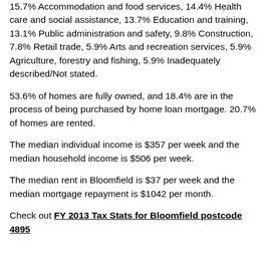15.7% Accommodation and food services, 14.4% Health care and social assistance, 13.7% Education and training, 13.1% Public administration and safety, 9.8% Construction, 7.8% Retail trade, 5.9% Arts and recreation services, 5.9% Agriculture, forestry and fishing, 5.9% Inadequately described/Not stated.
53.6% of homes are fully owned, and 18.4% are in the process of being purchased by home loan mortgage. 20.7% of homes are rented.
The median individual income is $357 per week and the median household income is $506 per week.
The median rent in Bloomfield is $37 per week and the median mortgage repayment is $1042 per month.
Check out FY 2013 Tax Stats for Bloomfield postcode 4895